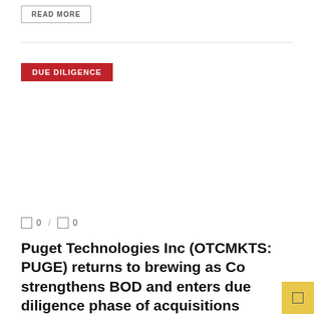READ MORE
DUE DILIGENCE
0 / 0
Puget Technologies Inc (OTCMKTS: PUGE) returns to brewing as Co strengthens BOD and enters due diligence phase of acquisitions